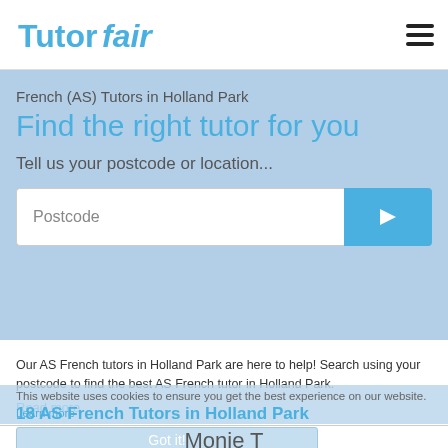[Figure (logo): TutorFair logo in blue italic text]
French (AS) Tutors in Holland Park
Find the right tutor for you
Tell us your postcode or location...
Postcode
Our AS French tutors in Holland Park are here to help! Search using your postcode to find the best AS French tutor in Holland Park.
Read more
This website uses cookies to ensure you get the best experience on our website. Learn more
18 AS French Tutors in Holland Park
Got it!
Monie T